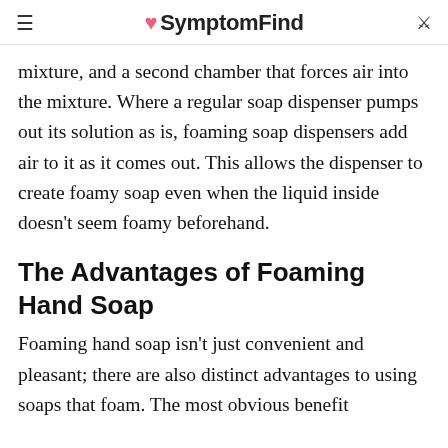SymptomFind
mixture, and a second chamber that forces air into the mixture. Where a regular soap dispenser pumps out its solution as is, foaming soap dispensers add air to it as it comes out. This allows the dispenser to create foamy soap even when the liquid inside doesn't seem foamy beforehand.
The Advantages of Foaming Hand Soap
Foaming hand soap isn't just convenient and pleasant; there are also distinct advantages to using soaps that foam. The most obvious benefit